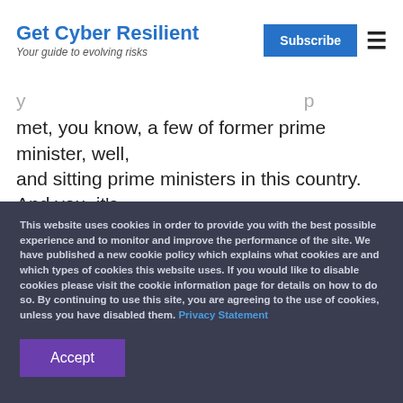Get Cyber Resilient — Your guide to evolving risks
met, you know, a few of former prime minister, well, and sitting prime ministers in this country. And you, it's
This website uses cookies in order to provide you with the best possible experience and to monitor and improve the performance of the site. We have published a new cookie policy which explains what cookies are and which types of cookies this website uses. If you would like to disable cookies please visit the cookie information page for details on how to do so. By continuing to use this site, you are agreeing to the use of cookies, unless you have disabled them. Privacy Statement
Accept